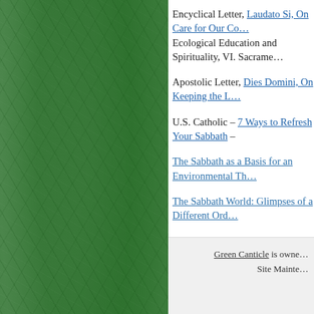Encyclical Letter, Laudato Si, On Care for Our Co... Ecological Education and Spirituality, VI. Sacrame...
Apostolic Letter, Dies Domini, On Keeping the L...
U.S. Catholic – 7 Ways to Refresh Your Sabbath –
The Sabbath as a Basis for an Environmental Th...
The Sabbath World: Glimpses of a Different Ord...
And On The Seventh Day: Astronomy and Sabb...
Comments »
Green Canticle is owne... Site Mainte...